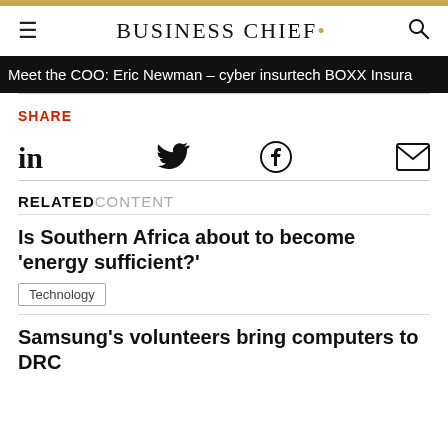BUSINESS CHIEF.
Meet the COO: Eric Newman – cyber insurtech BOXX Insura
SHARE
[Figure (other): Social share icons: LinkedIn, Twitter, Facebook, Email]
RELATED CONTENT
Is Southern Africa about to become 'energy sufficient?'
Technology
Samsung's volunteers bring computers to DRC